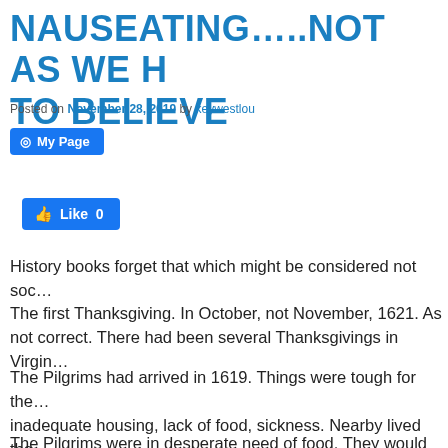NAUSEATING…..NOT AS WE HAVE COME TO BELIEVE
Posted on November 28, 2019 by keywestlou
[Figure (other): My Page button - blue Facebook-style button with circle-user icon]
[Figure (other): Like 0 button - blue Facebook-style thumbs up like button]
History books forget that which might be considered not soc…
The first Thanksgiving. In October, not November, 1621. As… not correct. There had been several Thanksgivings in Virgi…
The Pilgrims had arrived in 1619. Things were tough for the… inadequate housing, lack of food, sickness. Nearby lived the… Pilgrims and Wampanoags not the best of friends.
The Pilgrims were in desperate need of food. They would sm… food, and leave beads behind in payment. This did not rest w…